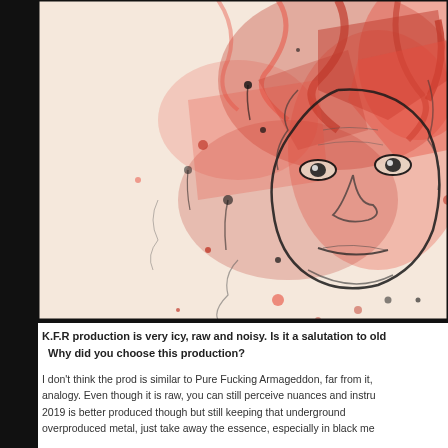[Figure (illustration): Dark horror artwork showing a distorted face with red splatter paint effects, black ink swirls and drips on a pale background, creating a raw, visceral visual.]
K.F.R production is very icy, raw and noisy. Is it a salutation to old Why did you choose this production?
I don't think the prod is similar to Pure Fucking Armageddon, far from it, analogy. Even though it is raw, you can still perceive nuances and instru 2019 is better produced though but still keeping that underground overproduced metal, just take away the essence, especially in black me